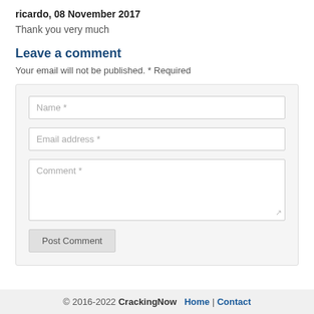ricardo, 08 November 2017
Thank you very much
Leave a comment
Your email will not be published. * Required
[Figure (screenshot): Comment form with Name, Email address, Comment fields and Post Comment button]
© 2016-2022 CrackingNow  Home | Contact